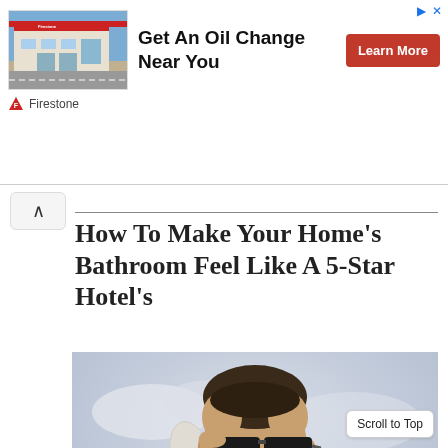[Figure (photo): Firestone auto care store exterior advertisement banner with red Learn More button]
How To Make Your Home's Bathroom Feel Like A 5-Star Hotel's
[Figure (photo): Man in white shirt wearing sunglasses, holding the frame of his sunglasses, against a bright sky background]
Scroll to Top